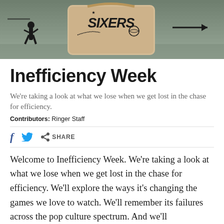[Figure (photo): Photo of a person standing next to a large bag with the Philadelphia 76ers (Sixers) logo, against a grey wall with a right-pointing arrow.]
Inefficiency Week
We’re taking a look at what we lose when we get lost in the chase for efficiency.
Contributors: Ringer Staff
f  [Twitter bird]  [share icon] SHARE
Welcome to Inefficiency Week. We’re taking a look at what we lose when we get lost in the chase for efficiency. We’ll explore the ways it’s changing the games we love to watch. We’ll remember its failures across the pop culture spectrum. And we’ll...